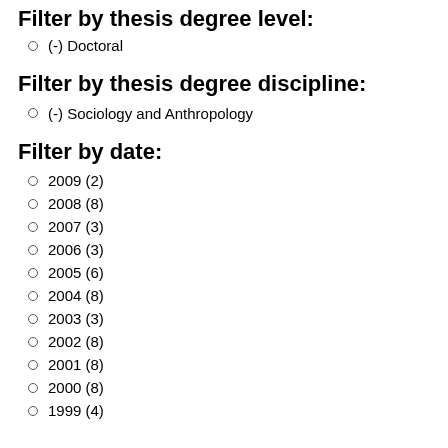Filter by thesis degree level:
(-) Doctoral
Filter by thesis degree discipline:
(-) Sociology and Anthropology
Filter by date:
2009 (2)
2008 (8)
2007 (3)
2006 (3)
2005 (6)
2004 (8)
2003 (3)
2002 (8)
2001 (8)
2000 (8)
1999 (4)